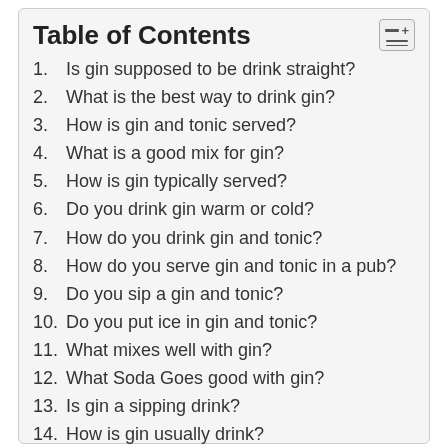Table of Contents
1. Is gin supposed to be drink straight?
2. What is the best way to drink gin?
3. How is gin and tonic served?
4. What is a good mix for gin?
5. How is gin typically served?
6. Do you drink gin warm or cold?
7. How do you drink gin and tonic?
8. How do you serve gin and tonic in a pub?
9. Do you sip a gin and tonic?
10. Do you put ice in gin and tonic?
11. What mixes well with gin?
12. What Soda Goes good with gin?
13. Is gin a sipping drink?
14. How is gin usually drink?
15. How is gin usually served?